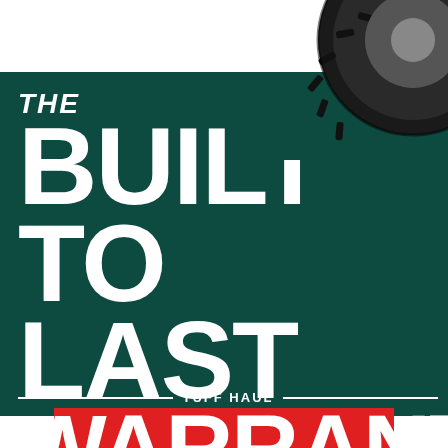[Figure (illustration): Close-up photo of a black rubber tire tread in the upper right corner of the page, partially cropped, set against a white background area.]
THE BUILT TO LAST WARRANTY
TUFF HAUL
[Figure (other): Red rectangular bar at the bottom center of the page, partially visible.]